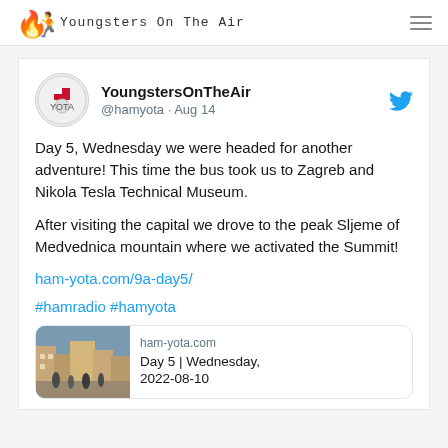Youngsters On The Air
YoungersOnTheAir @hamyota · Aug 14
Day 5, Wednesday we were headed for another adventure! This time the bus took us to Zagreb and Nikola Tesla Technical Museum.

After visiting the capital we drove to the peak Sljeme of Medvednica mountain where we activated the Summit!
ham-yota.com/9a-day5/
#hamradio #hamyota
[Figure (screenshot): Link preview card showing ham-yota.com with a street photo and title 'Day 5 | Wednesday, 2022-08-10']